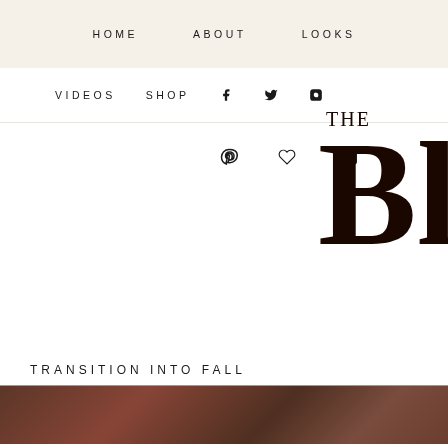HOME   ABOUT   LOOKS
VIDEOS   SHOP   f   twitter   instagram
[Figure (logo): Blog logo showing 'THE B' in large serif font, dark brown color, partially cropped at right edge]
TRANSITION INTO FALL
[Figure (photo): Partial photo strip at bottom showing autumn/fall scene with warm reddish-brown tones]